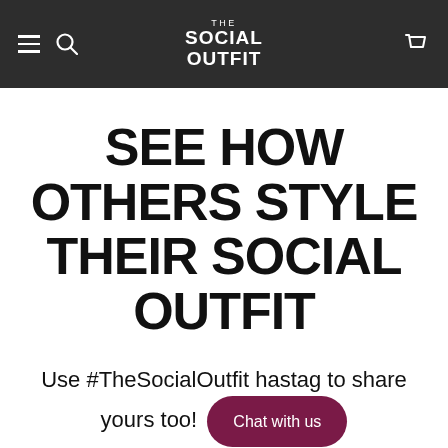THE SOCIAL OUTFIT
SEE HOW OTHERS STYLE THEIR SOCIAL OUTFIT
Use #TheSocialOutfit hastag to share yours too! Chat with us